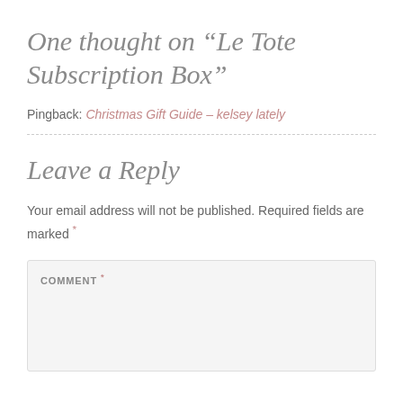One thought on “Le Tote Subscription Box”
Pingback: Christmas Gift Guide – kelsey lately
Leave a Reply
Your email address will not be published. Required fields are marked *
COMMENT *